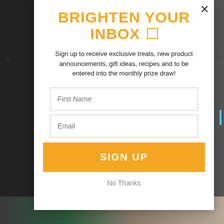BRIGHTEN YOUR INBOX 🌟
Sign up to receive exclusive treats, new product announcements, gift ideas, recipes and to be entered into the monthly prize draw!
First Name
Email
SIGN UP
No Thanks